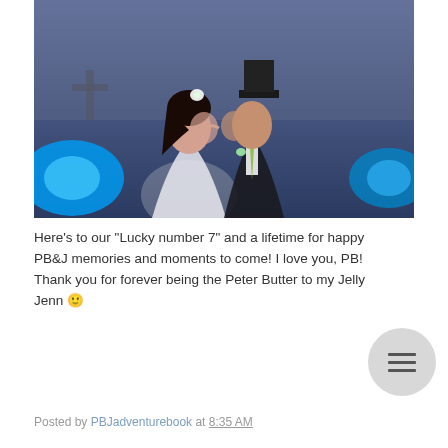[Figure (photo): A couple kissing at what appears to be a wedding reception. The woman wears a white strapless dress with a small white floral hair piece. The man wears a dark suit with a green tie and a black top hat. Blue ambient lighting in the background.]
Here's to our "Lucky number 7" and a lifetime for happy PB&J memories and moments to come! I love you, PB! Thank you for forever being the Peter Butter to my Jelly Jenn 🙂
Posted by PBJadventurebook at 8:35 AM